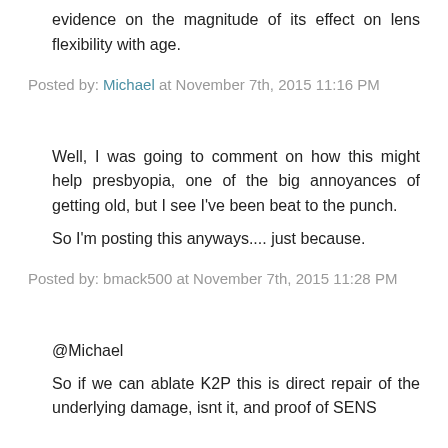evidence on the magnitude of its effect on lens flexibility with age.
Posted by: Michael at November 7th, 2015 11:16 PM
Well, I was going to comment on how this might help presbyopia, one of the big annoyances of getting old, but I see I've been beat to the punch.
So I'm posting this anyways.... just because.
Posted by: bmack500 at November 7th, 2015 11:28 PM
@Michael
So if we can ablate K2P this is direct repair of the underlying damage, isnt it, and proof of SENS